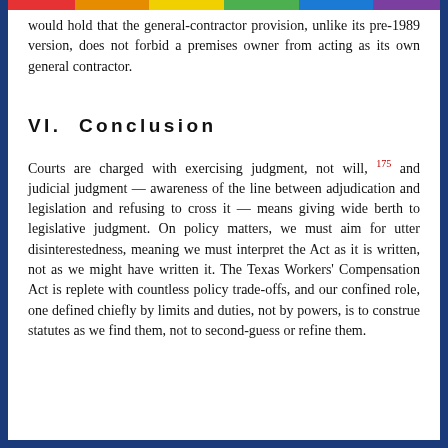would hold that the general-contractor provision, unlike its pre-1989 version, does not forbid a premises owner from acting as its own general contractor.
VI.  Conclusion
Courts are charged with exercising judgment, not will, 175 and judicial judgment — awareness of the line between adjudication and legislation and refusing to cross it — means giving wide berth to legislative judgment. On policy matters, we must aim for utter disinterestedness, meaning we must interpret the Act as it is written, not as we might have written it. The Texas Workers' Compensation Act is replete with countless policy trade-offs, and our confined role, one defined chiefly by limits and duties, not by powers, is to construe statutes as we find them, not to second-guess or refine them.